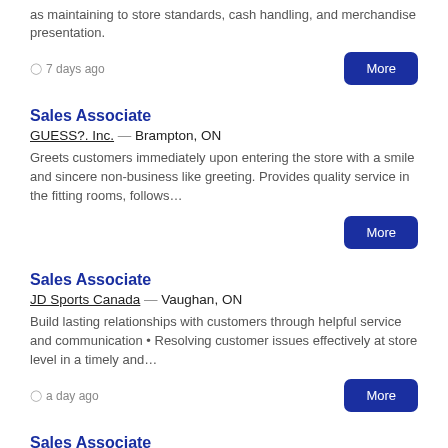as maintaining to store standards, cash handling, and merchandise presentation.
7 days ago
More
Sales Associate
GUESS?. Inc. — Brampton, ON
Greets customers immediately upon entering the store with a smile and sincere non-business like greeting. Provides quality service in the fitting rooms, follows…
More
Sales Associate
JD Sports Canada — Vaughan, ON
Build lasting relationships with customers through helpful service and communication • Resolving customer issues effectively at store level in a timely and…
a day ago
More
Sales Associate
Dominion Motors Buick GMC — Thunder Bay, ON